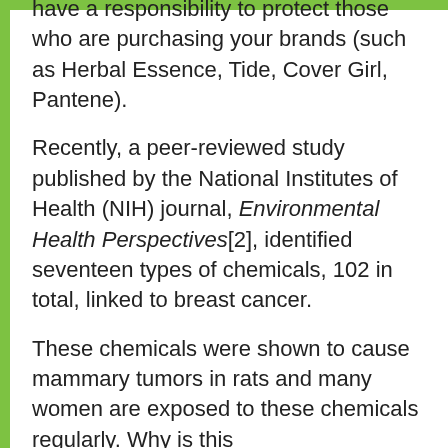have a responsibility to protect those who are purchasing your brands (such as Herbal Essence, Tide, Cover Girl, Pantene).
Recently, a peer-reviewed study published by the National Institutes of Health (NIH) journal, Environmental Health Perspectives[2], identified seventeen types of chemicals, 102 in total, linked to breast cancer.
These chemicals were shown to cause mammary tumors in rats and many women are exposed to these chemicals regularly. Why is this